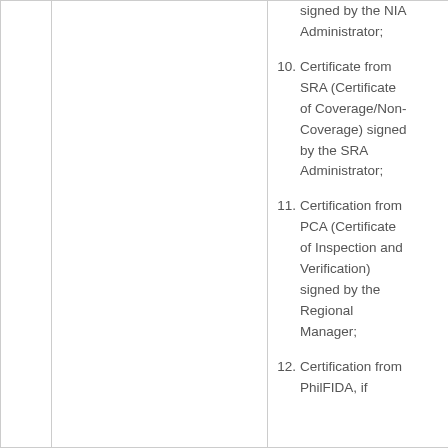signed by the NIA Administrator;
10. Certificate from SRA (Certificate of Coverage/Non-Coverage) signed by the SRA Administrator;
11. Certification from PCA (Certificate of Inspection and Verification) signed by the Regional Manager;
12. Certification from PhilFIDA, if